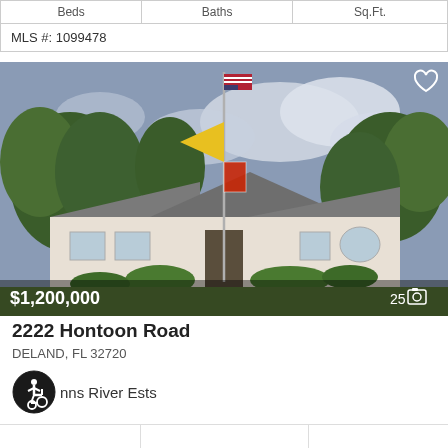| Beds | Baths | Sq.Ft. |
| --- | --- | --- |
| MLS #: 1099478 |  |  |
[Figure (photo): Exterior photo of a single-story home with a flagpole flying American, yellow, and Florida state flags, surrounded by trees. Price overlay shows $1,200,000 and 25 photos.]
2222 Hontoon Road
DELAND, FL 32720
nns River Ests